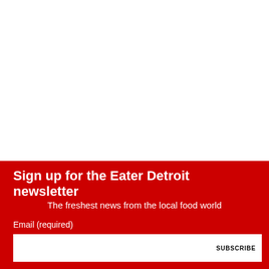[Figure (other): White blank area occupying the top portion of the page]
Sign up for the Eater Detroit newsletter
The freshest news from the local food world
Email (required)
SUBSCRIBE